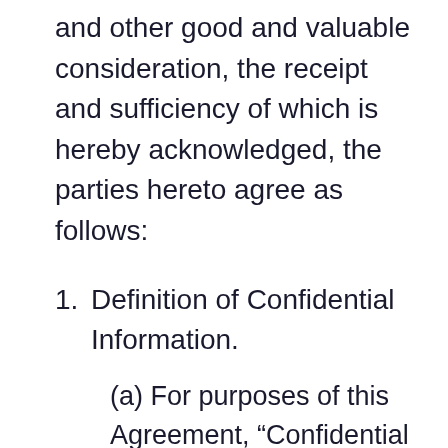and other good and valuable consideration, the receipt and sufficiency of which is hereby acknowledged, the parties hereto agree as follows:
Definition of Confidential Information.
(a) For purposes of this Agreement, “Confidential Information” means any data or information that is proprietary to the Disclosing Party and not generally known to the public, whether in tangible or intangible form, whenever and however disclosed, including, but not limited